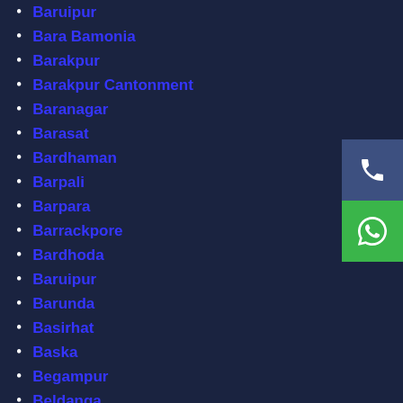Baruipur
Bara Bamonia
Barakpur
Barakpur Cantonment
Baranagar
Barasat
Bardhaman
Barpali
Barpara
Barrackpore
Bardhada
Baruipur
Barunda
Basirhat
Baska
Begampur
Beldanga
Beldutu
Belebathan